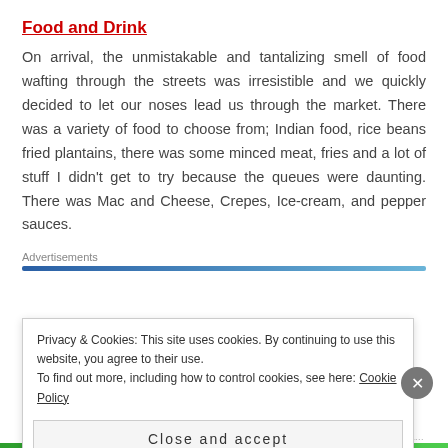Food and Drink
On arrival, the unmistakable and tantalizing smell of food wafting through the streets was irresistible and we quickly decided to let our noses lead us through the market. There was a variety of food to choose from; Indian food, rice beans fried plantains, there was some minced meat, fries and a lot of stuff I didn't get to try because the queues were daunting. There was Mac and Cheese, Crepes, Ice-cream, and pepper sauces.
Advertisements
Privacy & Cookies: This site uses cookies. By continuing to use this website, you agree to their use.
To find out more, including how to control cookies, see here: Cookie Policy
Close and accept